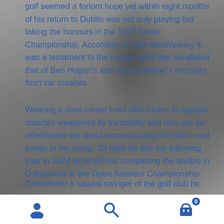[Figure (photo): Black and white photograph of people (golfers) as background image behind the text content]
golf seemed a forlorn hope yet within eight months of his return to Dublin was not only playing but taking the honours in the 1923 Close Championship. According to Paul MacWeeney it was a testament to the human spirit that paralleled that of Ben Hogan's and Jimmy Walker's recovery from car crashes.
Wearing a steel corset lined with rubber to support muscles weakened by immobility and non-use he relentlessly set about reconstructing the rythm and power in his swing. JD held his title the following year in 1924 while almost completing the double in Dollymount at the Open Amateur Championship.
Considered a natural swinger of the golf club he had a
[user icon] [search icon] [cart icon with badge 0]